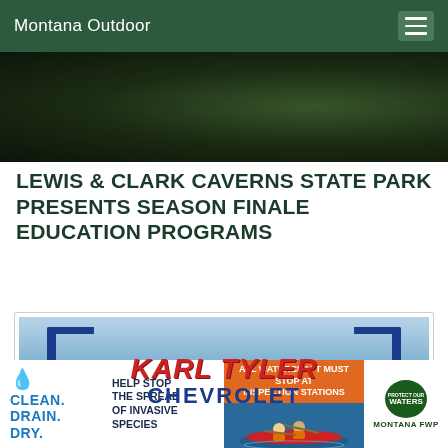Montana Outdoor
[Figure (photo): Dark forest/outdoor scene hero image]
LEWIS & CLARK CAVERNS STATE PARK PRESENTS SEASON FINALE EDUCATION PROGRAMS
[Figure (illustration): Karl Tyler Chevrolet advertisement with logo and www.GMofMontana.com]
[Figure (infographic): Clean. Drain. Dry. / Help Stop The Spread Of Invasive Species / All Watercraft Must Stop At Inspection Stations / Protect Our Waters Montana FWP banner advertisement]